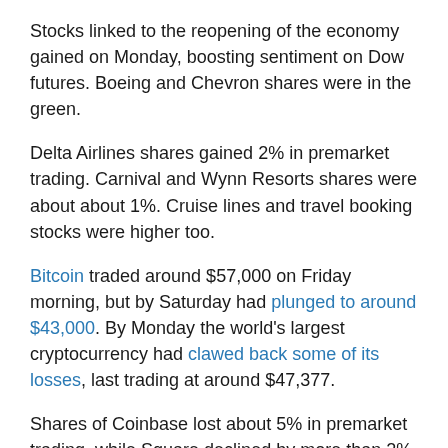Stocks linked to the reopening of the economy gained on Monday, boosting sentiment on Dow futures. Boeing and Chevron shares were in the green.
Delta Airlines shares gained 2% in premarket trading. Carnival and Wynn Resorts shares were about about 1%. Cruise lines and travel booking stocks were higher too.
Bitcoin traded around $57,000 on Friday morning, but by Saturday had plunged to around $43,000. By Monday the world's largest cryptocurrency had clawed back some of its losses, last trading at around $47,377.
Shares of Coinbase lost about 5% in premarket trading, while Square declined by more than 2%.
Loading chart…
Slower-than-expected job growth also contributed to